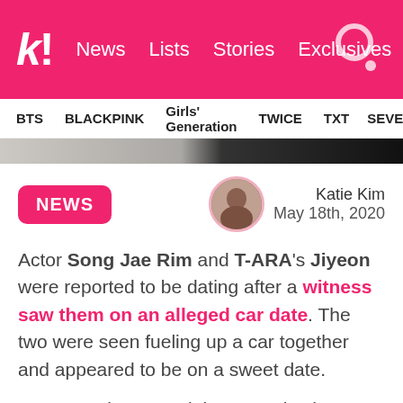k! News Lists Stories Exclusives
BTS BLACKPINK Girls' Generation TWICE TXT SEVE
[Figure (photo): Partial image strip showing blurred photo at top of article]
NEWS
Katie Kim
May 18th, 2020
Actor Song Jae Rim and T-ARA's Jiyeon were reported to be dating after a witness saw them on an alleged car date. The two were seen fueling up a car together and appeared to be on a sweet date.
However, the two celebs' agencies have responded with statements denying the dating rumors. Song Jae Rim's agency clarified that the two are only friends who share the same...